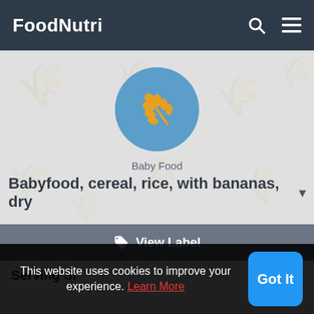FoodNutri
[Figure (logo): Wheat/grain icon inside a blue circle, representing the Baby Food category]
Baby Food
Babyfood, cereal, rice, with bananas, dry
View Label
Serving Si
This website uses cookies to improve your experience. Learn More
Got It